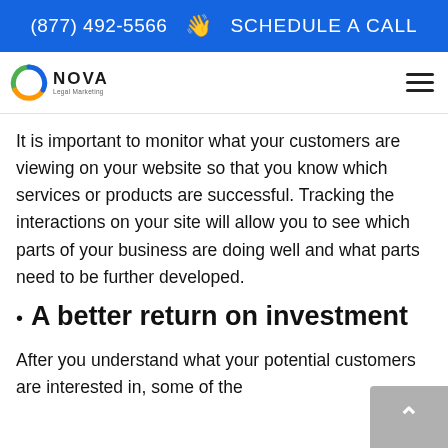(877) 492-5566 👋 SCHEDULE A CALL
[Figure (logo): Nova Legal Marketing logo with circular icon and text]
It is important to monitor what your customers are viewing on your website so that you know which services or products are successful. Tracking the interactions on your site will allow you to see which parts of your business are doing well and what parts need to be further developed.
A better return on investment
After you understand what your potential customers are interested in, some of the